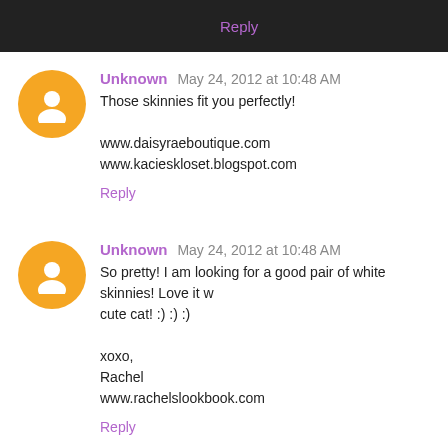Reply
Unknown May 24, 2012 at 10:48 AM
Those skinnies fit you perfectly!

www.daisyraeboutique.com
www.kacieskloset.blogspot.com

Reply
Unknown May 24, 2012 at 10:48 AM
So pretty! I am looking for a good pair of white skinnies! Love it w... cute cat! :) :) :)

xoxo,
Rachel
www.rachelslookbook.com

Reply
Kelley With Love May 24, 2012 at 11:25 AM
Cute outfit Giovanna! You know I love Polka Dots!!!